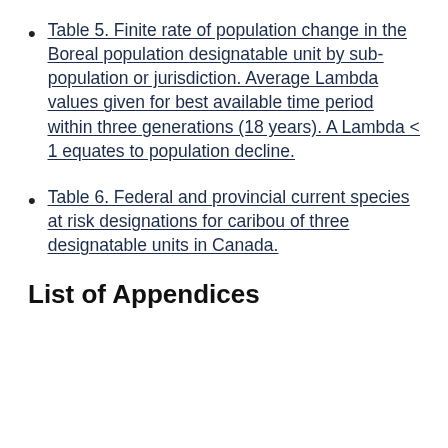Table 5. Finite rate of population change in the Boreal population designatable unit by sub-population or jurisdiction. Average Lambda values given for best available time period within three generations (18 years). A Lambda < 1 equates to population decline.
Table 6. Federal and provincial current species at risk designations for caribou of three designatable units in Canada.
List of Appendices